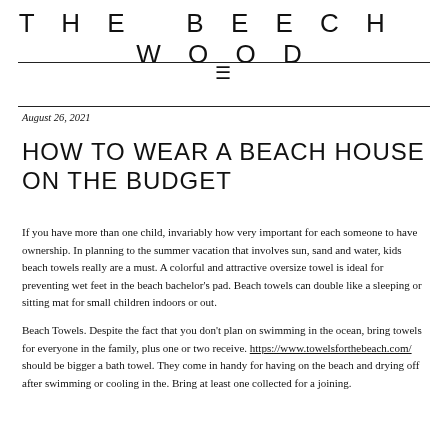THE BEECH WOOD
August 26, 2021
HOW TO WEAR A BEACH HOUSE ON THE BUDGET
If you have more than one child, invariably how very important for each someone to have ownership. In planning to the summer vacation that involves sun, sand and water, kids beach towels really are a must. A colorful and attractive oversize towel is ideal for preventing wet feet in the beach bachelor's pad. Beach towels can double like a sleeping or sitting mat for small children indoors or out.
Beach Towels. Despite the fact that you don't plan on swimming in the ocean, bring towels for everyone in the family, plus one or two receive. https://www.towelsforthebeach.com/ should be bigger a bath towel. They come in handy for having on the beach and drying off after swimming or cooling in the. Bring at least one collected for a joining.